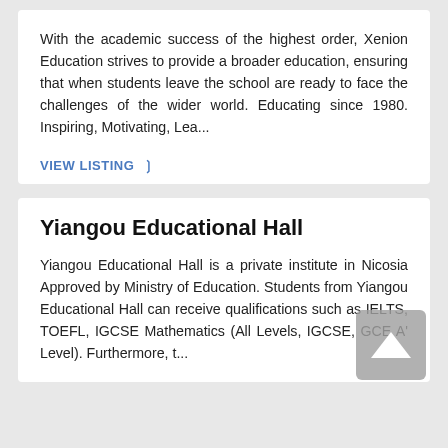With the academic success of the highest order, Xenion Education strives to provide a broader education, ensuring that when students leave the school are ready to face the challenges of the wider world. Educating since 1980. Inspiring, Motivating, Lea...
VIEW LISTING ❯
Yiangou Educational Hall
Yiangou Educational Hall is a private institute in Nicosia Approved by Ministry of Education. Students from Yiangou Educational Hall can receive qualifications such as IELTS, TOEFL, IGCSE Mathematics (All Levels, IGCSE, GCE A' Level). Furthermore, t...